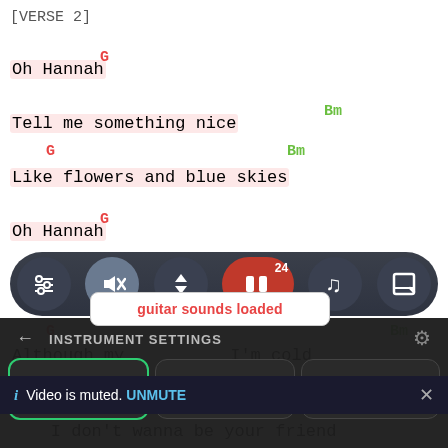[VERSE 2]
G
Oh Hannah
Bm
Tell me something nice
G                              Bm
Like flowers and blue skies
G
Oh Hannah
Bm
I
[Figure (screenshot): Music app toolbar with settings, mute, scroll, play/pause (showing count 24), notes, and layout buttons on dark rounded bar]
G                              Bm
Although my                    I'm cold
[Figure (screenshot): guitar sounds loaded popup notification]
[Figure (screenshot): Instrument Settings panel with Guitar (selected), Piano, and Ukulele buttons]
Video is muted. UNMUTE
I don't wanna be your friend